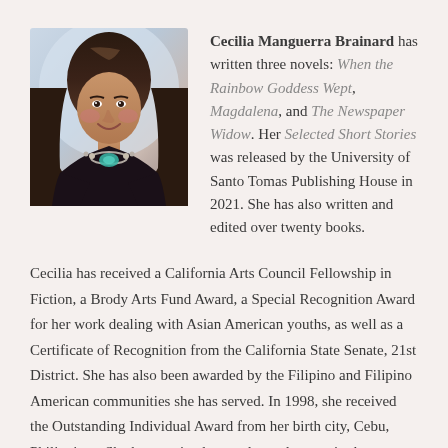[Figure (photo): Portrait photo of Cecilia Manguerra Brainard, a woman with dark hair wearing a black top and a turquoise statement necklace, smiling, against a light blue/white background.]
Cecilia Manguerra Brainard has written three novels: When the Rainbow Goddess Wept, Magdalena, and The Newspaper Widow. Her Selected Short Stories was released by the University of Santo Tomas Publishing House in 2021. She has also written and edited over twenty books.
Cecilia has received a California Arts Council Fellowship in Fiction, a Brody Arts Fund Award, a Special Recognition Award for her work dealing with Asian American youths, as well as a Certificate of Recognition from the California State Senate, 21st District. She has also been awarded by the Filipino and Filipino American communities she has served. In 1998, she received the Outstanding Individual Award from her birth city, Cebu, Philippines. She has received several travel grants in the